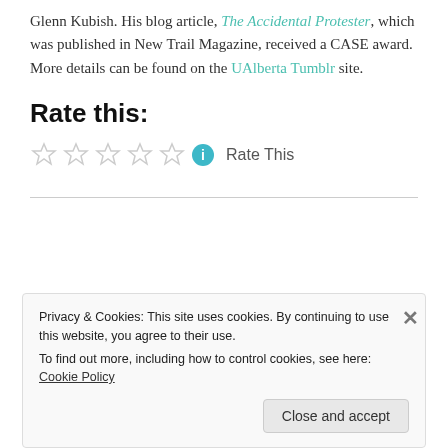Glenn Kubish. His blog article, The Accidental Protester, which was published in New Trail Magazine, received a CASE award. More details can be found on the UAlberta Tumblr site.
Rate this:
[Figure (other): Five empty star rating widgets followed by an info icon and the text 'Rate This']
Privacy & Cookies: This site uses cookies. By continuing to use this website, you agree to their use. To find out more, including how to control cookies, see here: Cookie Policy